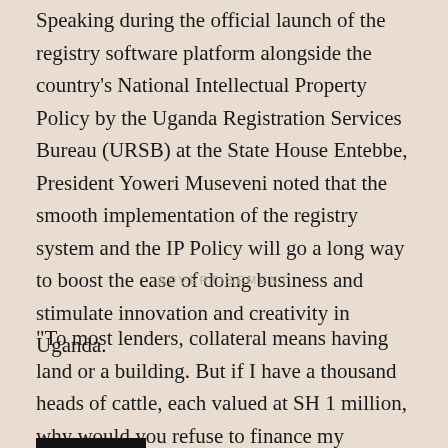Speaking during the official launch of the registry software platform alongside the country's National Intellectual Property Policy by the Uganda Registration Services Bureau (URSB) at the State House Entebbe, President Yoweri Museveni noted that the smooth implementation of the registry system and the IP Policy will go a long way to boost the ease of doing business and stimulate innovation and creativity in Uganda.
ADVERTISEMENT
“To most lenders, collateral means having land or a building. But if I have a thousand heads of cattle, each valued at SH 1 million, why would you refuse to finance my investment? The Ministry of